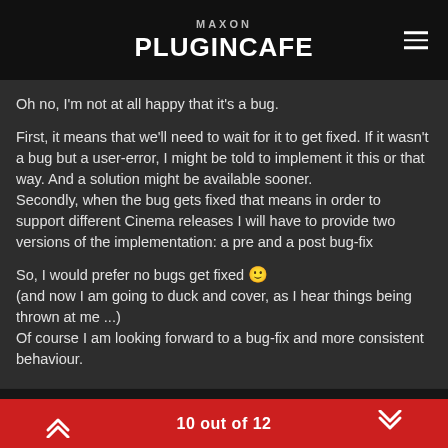MAXON PLUGINCAFE
Oh no, I'm not at all happy that it's a bug.
First, it means that we'll need to wait for it to get fixed. If it wasn't a bug but a user-error, I might be told to implement it this or that way. And a solution might be available sooner.
Secondly, when the bug gets fixed that means in order to support different Cinema releases I will have to provide two versions of the implementation: a pre and a post bug-fix
So, I would prefer no bugs get fixed 🙂
(and now I am going to duck and cover, as I hear things being thrown at me ...)
Of course I am looking forward to a bug-fix and more consistent behaviour.
10 out of 12